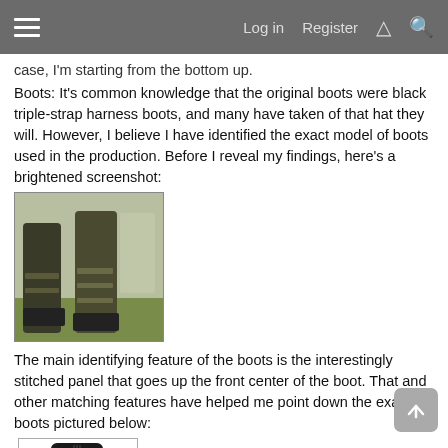Log in   Register
case, I'm starting from the bottom up.
Boots: It's common knowledge that the original boots were black triple-strap harness boots, and many have taken of that hat they will. However, I believe I have identified the exact model of boots used in the production. Before I reveal my findings, here's a brightened screenshot:
[Figure (photo): Brightened screenshot showing boots from a production, dark tall harness boots with straps, standing on grass]
The main identifying feature of the boots is the interestingly stitched panel that goes up the front center of the boot. That and other matching features have helped me point down the exact boots pictured below:
[Figure (photo): Product photo of a tall black leather harness boot with square toe and strap at the ankle]